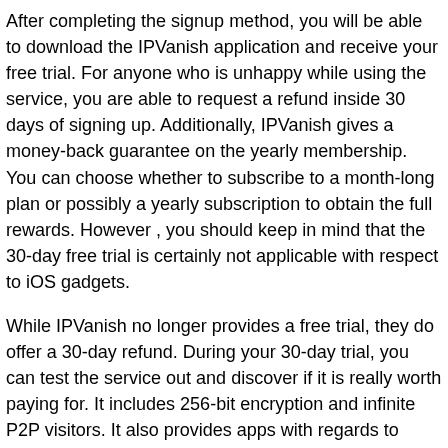After completing the signup method, you will be able to download the IPVanish application and receive your free trial. For anyone who is unhappy while using the service, you are able to request a refund inside 30 days of signing up. Additionally, IPVanish gives a money-back guarantee on the yearly membership. You can choose whether to subscribe to a month-long plan or possibly a yearly subscription to obtain the full rewards. However , you should keep in mind that the 30-day free trial is certainly not applicable with respect to iOS gadgets.
While IPVanish no longer provides a free trial, they do offer a 30-day refund. During your 30-day trial, you can test the service out and discover if it is really worth paying for. It includes 256-bit encryption and infinite P2P visitors. It also provides apps with regards to multiple networks and units. IPVanish is compatible with Kodi and Roku. It also gives seven-day refund if you’re unhappy with the company.